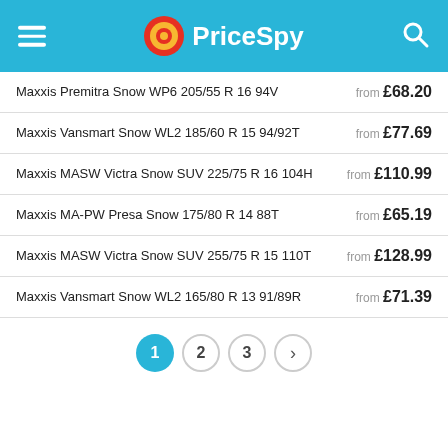PriceSpy
Maxxis Premitra Snow WP6 205/55 R 16 94V — from £68.20
Maxxis Vansmart Snow WL2 185/60 R 15 94/92T — from £77.69
Maxxis MASW Victra Snow SUV 225/75 R 16 104H — from £110.99
Maxxis MA-PW Presa Snow 175/80 R 14 88T — from £65.19
Maxxis MASW Victra Snow SUV 255/75 R 15 110T — from £128.99
Maxxis Vansmart Snow WL2 165/80 R 13 91/89R — from £71.39
1  2  3  >